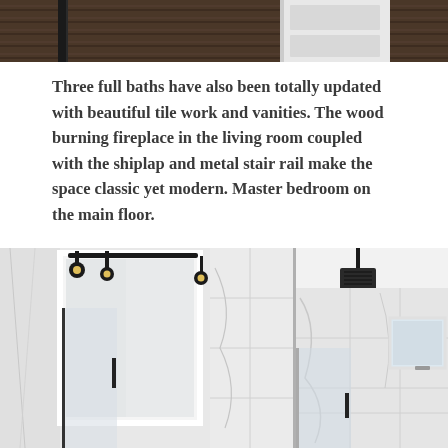[Figure (photo): Partial view of a room with dark wood flooring and what appears to be a white door or furniture piece — top portion visible only]
Three full baths have also been totally updated with beautiful tile work and vanities. The wood burning fireplace in the living room coupled with the shiplap and metal stair rail make the space classic yet modern. Master bedroom on the main floor.
[Figure (photo): Two side-by-side bathroom photos: left shows a bathroom with large white-framed mirror, black industrial-style light fixture with exposed bulbs, and marble tile walls with glass shower enclosure; right shows a marble tile shower with black ceiling-mounted rain shower head and a frosted glass window]